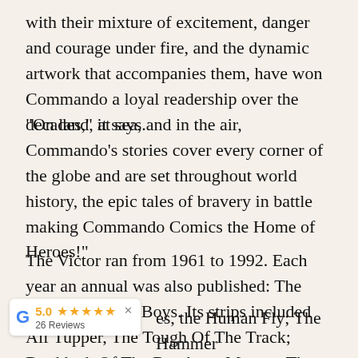with their mixture of excitement, danger and courage under fire, and the dynamic artwork that accompanies them, have won Commando a loyal readership over the decades," it says.
"On land, at sea, and in the air, Commando's stories cover every corner of the globe and are set throughout world history, the epic tales of bravery in battle making Commando Comics the Home of Heroes!"
The Victor ran from 1961 to 1992. Each year an annual was also published: The Victor Book for Boys. Its strips included Alf Tupper, The Tough Of The Track; Braddock Of The Bombers; Morgyn The Mighty, Master of Muscles, the Human Fly; The Hammer Force, stories of specially British officers. The